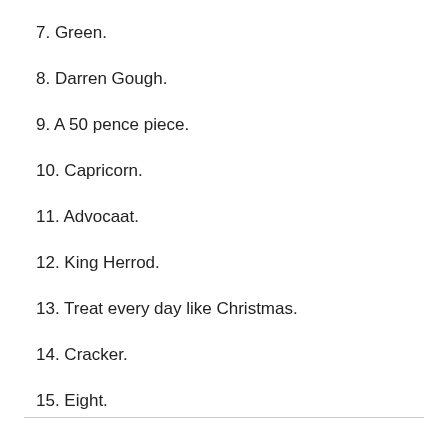7. Green.
8. Darren Gough.
9. A 50 pence piece.
10. Capricorn.
11. Advocaat.
12. King Herrod.
13. Treat every day like Christmas.
14. Cracker.
15. Eight.